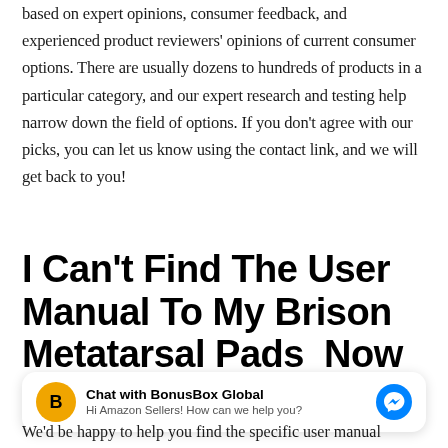based on expert opinions, consumer feedback, and experienced product reviewers' opinions of current consumer options. There are usually dozens to hundreds of products in a particular category, and our expert research and testing help narrow down the field of options. If you don't agree with our picks, you can let us know using the contact link, and we will get back to you!
I Can't Find The User Manual To My Brison Metatarsal Pads  Now
Chat with BonusBox Global
Hi Amazon Sellers! How can we help you?
We'd be happy to help you find the specific user manual